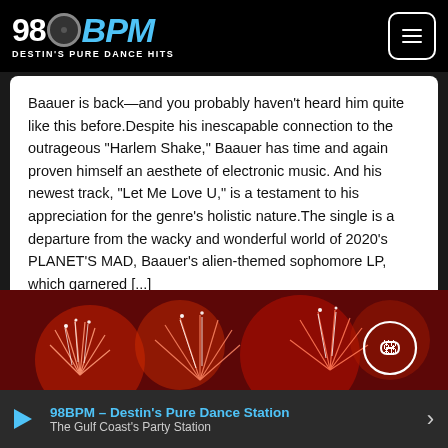98BPM – DESTIN'S PURE DANCE HITS
Baauer is back—and you probably haven't heard him quite like this before.Despite his inescapable connection to the outrageous "Harlem Shake," Baauer has time and again proven himself an aesthete of electronic music. And his newest track, "Let Me Love U," is a testament to his appreciation for the genre's holistic nature.The single is a departure from the wacky and wonderful world of 2020's PLANET'S MAD, Baauer's alien-themed sophomore LP, which garnered [...]
AUGUST 4, 2022  👁 1  ♡  ⇐
[Figure (photo): Red fireworks display at night with bright white sparks shooting upward against a dark red/maroon background]
98BPM – Destin's Pure Dance Station | The Gulf Coast's Party Station